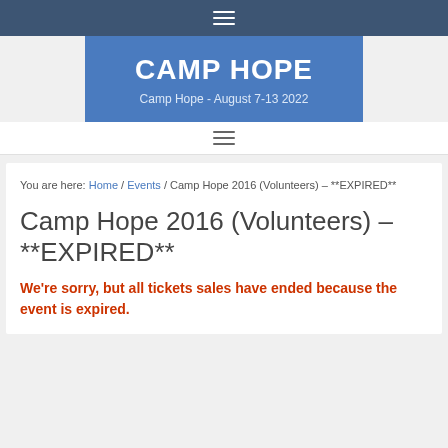≡
[Figure (logo): Camp Hope header banner with title CAMP HOPE and subtitle Camp Hope - August 7-13 2022 on blue background]
≡
You are here: Home / Events / Camp Hope 2016 (Volunteers) – **EXPIRED**
Camp Hope 2016 (Volunteers) – **EXPIRED**
We're sorry, but all tickets sales have ended because the event is expired.